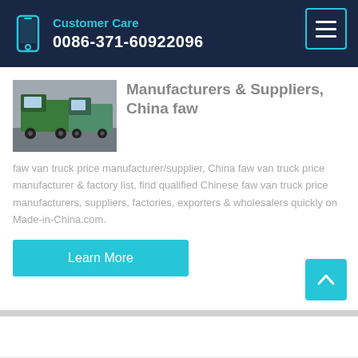Customer Care
0086-371-60922096
Manufacturers & Suppliers, China faw
[Figure (photo): Photo of green and white FAW trucks parked together]
faw van truck price manufacturer/supplier, China faw van truck price manufacturer & factory list, find qualified Chinese faw van truck price manufacturers, suppliers, factories, exporters & wholesalers quickly on Made-in-China.com.
Learn More